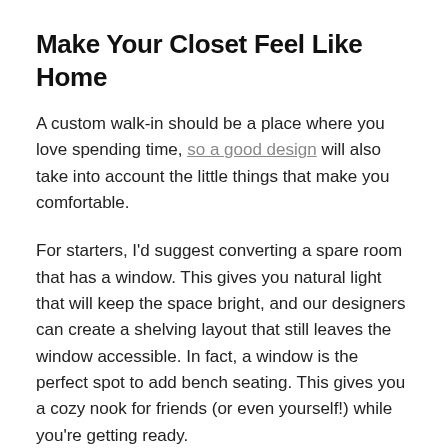Make Your Closet Feel Like Home
A custom walk-in should be a place where you love spending time, so a good design will also take into account the little things that make you comfortable.
For starters, I'd suggest converting a spare room that has a window. This gives you natural light that will keep the space bright, and our designers can create a shelving layout that still leaves the window accessible. In fact, a window is the perfect spot to add bench seating. This gives you a cozy nook for friends (or even yourself!) while you're getting ready.